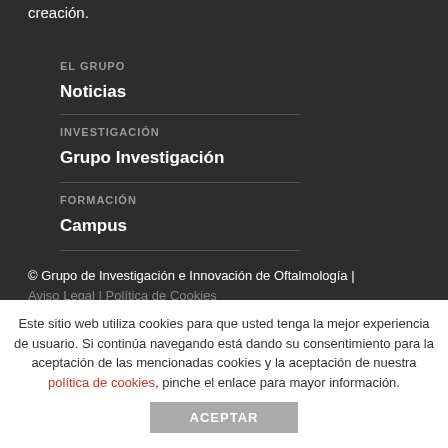creación.
EL GRUPO
Noticias
INVESTIGACIÓN
Grupo Investigación
FORMACIÓN
Campus
© Grupo de Investigación e Innovación de Oftalmología | Aviso Legal | Política de Cookies
Desarrollo web por Diseño Web
Este sitio web utiliza cookies para que usted tenga la mejor experiencia de usuario. Si continúa navegando está dando su consentimiento para la aceptación de las mencionadas cookies y la aceptación de nuestra política de cookies, pinche el enlace para mayor información.
ACEPTAR